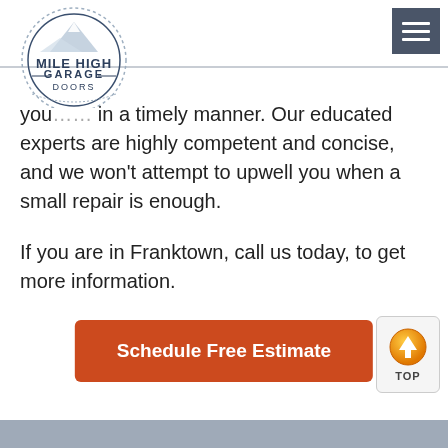[Figure (logo): Mile High Garage Doors circular logo with mountain illustration]
[Figure (other): Hamburger menu icon (three horizontal white lines on dark grey background)]
you... in a timely manner. Our educated experts are highly competent and concise, and we won't attempt to upwell you when a small repair is enough.
If you are in Franktown, call us today, to get more information.
Schedule Free Estimate
[Figure (other): Orange circular up-arrow TOP button in bottom right corner]